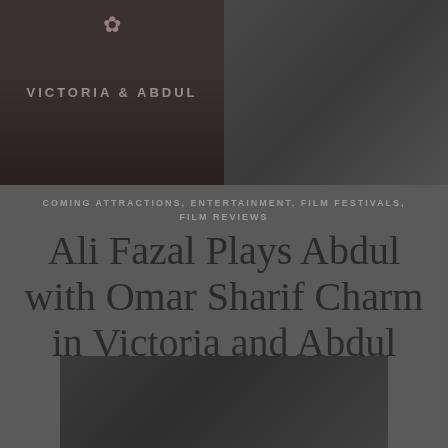[Figure (photo): Two dark film stills or movie poster images side by side. Left image shows a dark background with text 'VICTORIA & ABDUL' overlaid, with a decorative flower/ornament at top. Right image shows a darker scene.]
COMING ATTRACTIONS, ENTERTAINMENT, FILM FESTIVALS, FILM REVIEWS
Ali Fazal Plays Abdul with Omar Sharif Charm in Victoria and Abdul
November 13th, 2017
[Figure (photo): A dark film still showing two figures, partially visible at the bottom of the page.]